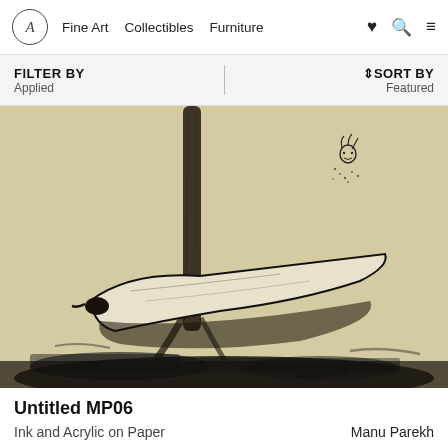Fine Art  Collectibles  Furniture
FILTER BY
Applied
↕SORT BY
Featured
[Figure (photo): Ink and Acrylic artwork on paper by Manu Parekh. Abstract composition showing a large white bird-like form in the center, a dark vertical tree trunk, scattered marks suggesting a small figure at upper right, and dark textured ground below. Signed at bottom right corner. Beige/cream background. Black ink marks throughout.]
Untitled MP06
Ink and Acrylic on Paper
Manu Parekh